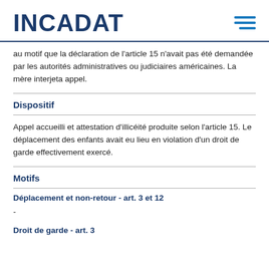INCADAT
au motif que la déclaration de l'article 15 n'avait pas été demandée par les autorités administratives ou judiciaires américaines. La mère interjeta appel.
Dispositif
Appel accueilli et attestation d'illicéité produite selon l'article 15. Le déplacement des enfants avait eu lieu en violation d'un droit de garde effectivement exercé.
Motifs
Déplacement et non-retour - art. 3 et 12
-
Droit de garde - art. 3